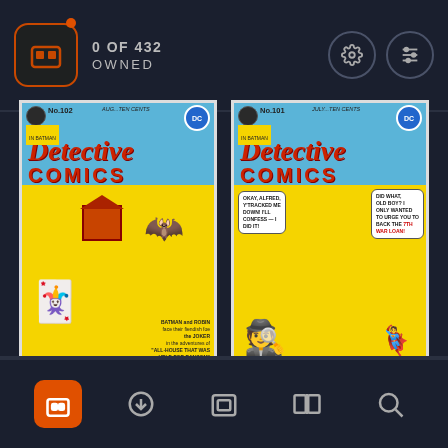0 OF 432 OWNED
[Figure (screenshot): Detective Comics No. 102 comic book cover — blue top with red italic 'Detective COMICS' title, yellow bottom showing Joker running with a house, Batman and Robin chasing. Bottom text: 'BATMAN and ROBIN face their fiendish foe the JOKER in the adventures of THE HOUSE THAT WAS HELD FOR RANSOM']
[Figure (screenshot): Detective Comics No. 101 comic book cover — blue top with red italic 'Detective COMICS' title, yellow bottom showing Alfred confronting a man with speech bubbles: 'OKAY, ALFRED, Y'TRACKED ME DOWN! I'LL CONFESS — I DID IT!' and 'DID WHAT, OLD BOY? I ONLY WANTED TO URGE YOU TO BACK THE 7TH WAR LOAN!']
Navigation bar with icons: home (active/orange), download, library, reading, search